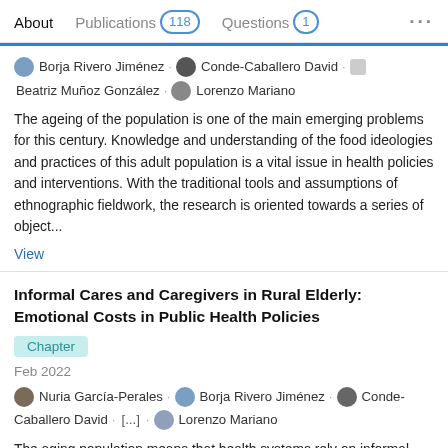About   Publications 118   Questions 1   ...
Borja Rivero Jiménez · Conde-Caballero David · Beatriz Muñoz González · Lorenzo Mariano
The ageing of the population is one of the main emerging problems for this century. Knowledge and understanding of the food ideologies and practices of this adult population is a vital issue in health policies and interventions. With the traditional tools and assumptions of ethnographic fieldwork, the research is oriented towards a series of object...
View
Informal Cares and Caregivers in Rural Elderly: Emotional Costs in Public Health Policies
Chapter
Feb 2022
Nuria García-Perales · Borja Rivero Jiménez · Conde-Caballero David · [...] · Lorenzo Mariano
The aging population means that health systems rely on informal carers to meet the physical, psychological, and